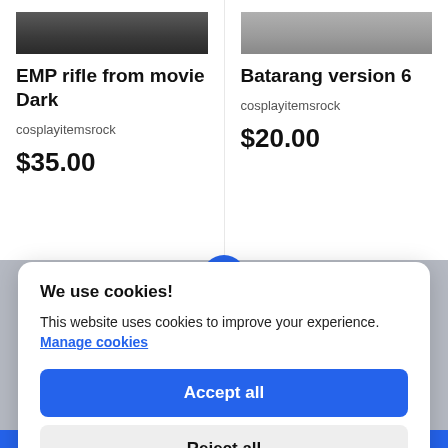[Figure (photo): Product thumbnail image for EMP rifle (dark/grey tones)]
EMP rifle from movie Dark
cosplayitemsrock
$35.00
[Figure (photo): Product thumbnail image for Batarang version 6 (light grey tones)]
Batarang version 6
cosplayitemsrock
$20.00
We use cookies!
This website uses cookies to improve your experience. Manage cookies